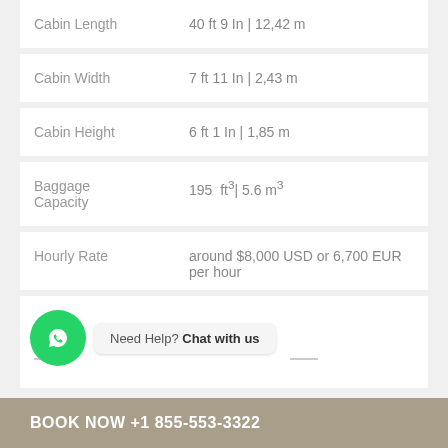| Property | Value |
| --- | --- |
| Cabin Length | 40 ft 9 In | 12,42 m |
| Cabin Width | 7 ft 11 In | 2,43 m |
| Cabin Height | 6 ft 1 In | 1,85 m |
| Baggage Capacity | 195  ft³| 5.6 m³ |
| Hourly Rate | around $8,000 USD or 6,700 EUR per hour |
Need Help? Chat with us
BOOK NOW +1 855-553-3322